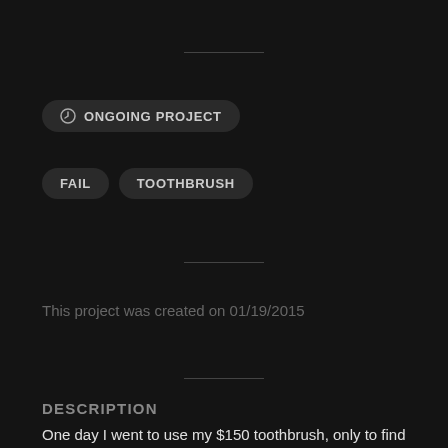ONGOING PROJECT
FAIL
TOOTHBRUSH
This project was created on 01/19/2015
DESCRIPTION
One day I went to use my $150 toothbrush, only to find that